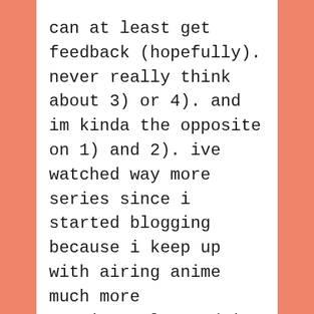can at least get feedback (hopefully). never really think about 3) or 4). and im kinda the opposite on 1) and 2). ive watched way more series since i started blogging because i keep up with airing anime much more consistently. and ive only really felt the pressure to publish a post immediately if i really like the post. i have no issues keeping everything on a